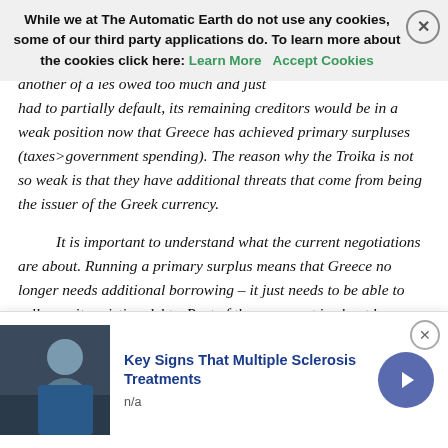While we at The Automatic Earth do not use any cookies, some of our third party applications do. To learn more about the cookies click here: Learn More  Accept Cookies
had to partially default, its remaining creditors would be in a weak position now that Greece has achieved primary surpluses (taxes>government spending). The reason why the Troika is not so weak is that they have additional threats that come from being the issuer of the Greek currency.
It is important to understand what the current negotiations are about. Running a primary surplus means that Greece no longer needs additional borrowing – it just needs to be able to roll over its existing debts. Part of the argument is about how large a primary surplus Greece should run. Common sense would say that further austerity should be avoided so that the economy can fully recover, when it will have much greater resources to be able to pay back loans. Instead the creditors want more austerity to achieve large primary surpluses. Of course the former course of action is better for Greece which
Key Signs That Multiple Sclerosis Treatments
n/a